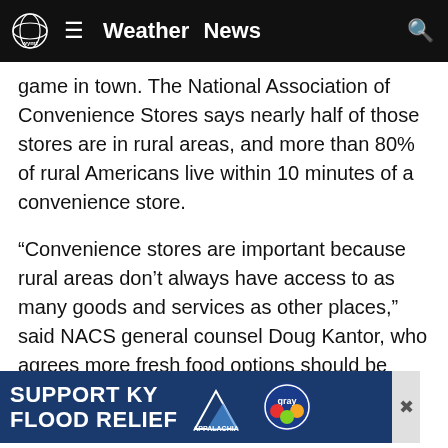WYMT Weather News
game in town. The National Association of Convenience Stores says nearly half of those stores are in rural areas, and more than 80% of rural Americans live within 10 minutes of a convenience store.
“Convenience stores are important because rural areas don’t always have access to as many goods and services as other places,” said NACS general counsel Doug Kantor, who agrees more fresh food options should be required at stores.
Critics say currently the small stores often don’t offer much for poor residents, some of whom also lack access to transportation to get to a town with a full grocery store. With a limited selection, some customers may only have a few hea… cked choices…
[Figure (other): Advertisement banner: SUPPORT KY FLOOD RELIEF with Appalachia Rises and Gray Television logos]